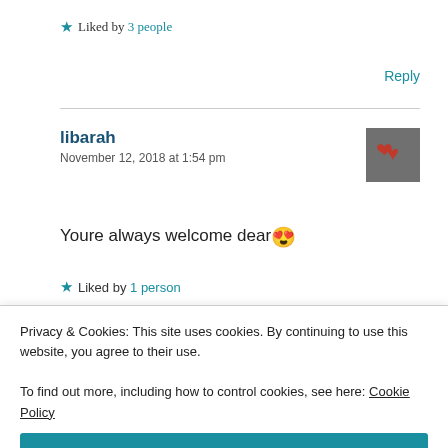★ Liked by 3 people
Reply
libarah
November 12, 2018 at 1:54 pm
Youre always welcome dear 😍
★ Liked by 1 person
Privacy & Cookies: This site uses cookies. By continuing to use this website, you agree to their use.
To find out more, including how to control cookies, see here: Cookie Policy
Close and accept